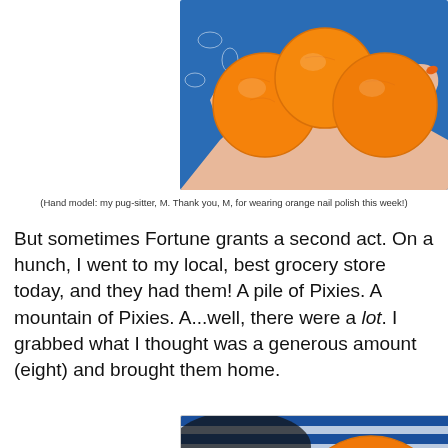[Figure (photo): Hand holding several small orange mandarin oranges (Pixies) against a blue floral fabric background. The hand has orange nail polish.]
(Hand model: my pug-sitter, M. Thank you, M, for wearing orange nail polish this week!)
But sometimes Fortune grants a second act. On a hunch, I went to my local, best grocery store today, and they had them! A pile of Pixies. A mountain of Pixies. A...well, there were a lot. I grabbed what I thought was a generous amount (eight) and brought them home.
[Figure (photo): Close-up of several orange mandarin oranges (Pixies) with a blue and white striped fabric in the background and a hand visible at the bottom.]